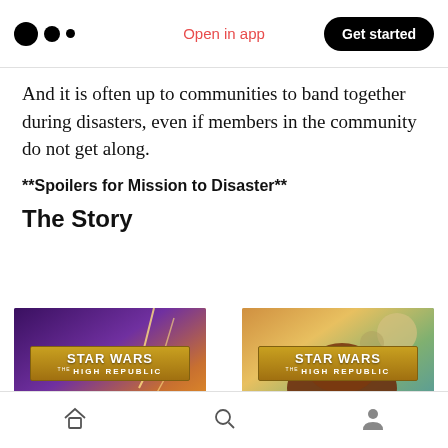Medium logo | Open in app | Get started
And it is often up to communities to band together during disasters, even if members in the community do not get along.
**Spoilers for Mission to Disaster**
The Story
[Figure (illustration): Two Star Wars: The High Republic book covers shown side by side]
Home | Search | Profile navigation icons